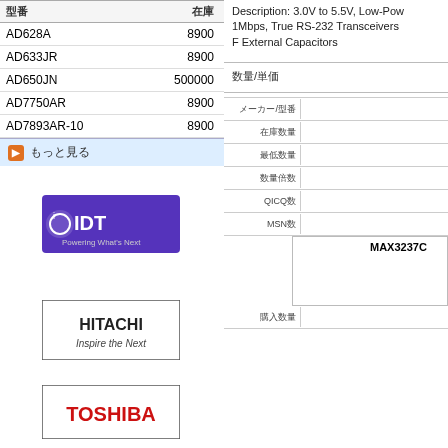| 型番 | 在庫 |
| --- | --- |
| AD628A | 8900 |
| AD633JR | 8900 |
| AD650JN | 500000 |
| AD7750AR | 8900 |
| AD7893AR-10 | 8900 |
もっと見る
[Figure (logo): IDT logo - Powering What's Next, purple background]
[Figure (logo): Hitachi - Inspire the Next logo, white background with border]
[Figure (logo): Toshiba logo, white background with border]
Description: 3.0V to 5.5V, Low-Power, 1Mbps, True RS-232 Transceivers F External Capacitors
数量/単価
メーカー/型番 | 在庫数 | 最低数量 | 数量倍数 | QICQ数 | MSN数 | 検索結果 MAX32370 | 購入数